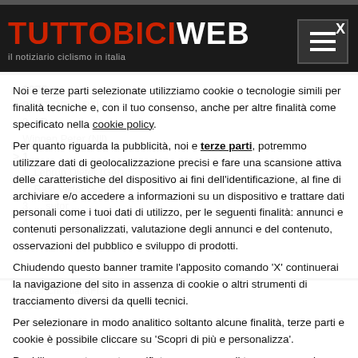TUTTOBICIWEB
Noi e terze parti selezionate utilizziamo cookie o tecnologie simili per finalità tecniche e, con il tuo consenso, anche per altre finalità come specificato nella cookie policy.
Per quanto riguarda la pubblicità, noi e terze parti, potremmo utilizzare dati di geolocalizzazione precisi e fare una scansione attiva delle caratteristiche del dispositivo ai fini dell'identificazione, al fine di archiviare e/o accedere a informazioni su un dispositivo e trattare dati personali come i tuoi dati di utilizzo, per le seguenti finalità: annunci e contenuti personalizzati, valutazione degli annunci e del contenuto, osservazioni del pubblico e sviluppo di prodotti.
Chiudendo questo banner tramite l'apposito comando 'X' continuerai la navigazione del sito in assenza di cookie o altri strumenti di tracciamento diversi da quelli tecnici.
Per selezionare in modo analitico soltanto alcune finalità, terze parti e cookie è possibile cliccare su 'Scopri di più e personalizza'.
Puoi liberamente prestare, rifiutare o revocare il tuo consenso, in qualsiasi momento, accedendo al pannello delle preferenze pubblicitarie.
1980
1. De Gendt Franky (Bel)
2. Gauthier Jean-Louis (Fra)